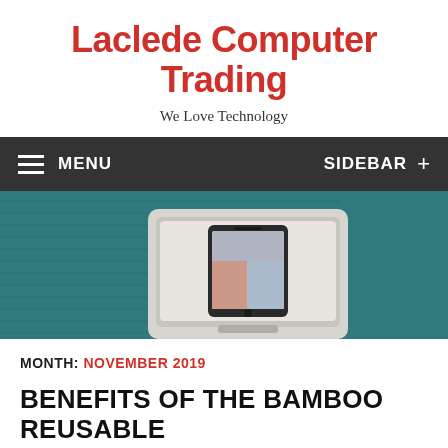Laclede Computer Trading
We Love Technology
MENU   SIDEBAR +
[Figure (photo): Hero banner showing a laptop with a smartphone on top, set against a teal fabric background]
MONTH: NOVEMBER 2019
BENEFITS OF THE BAMBOO REUSABLE COFFEE CUP